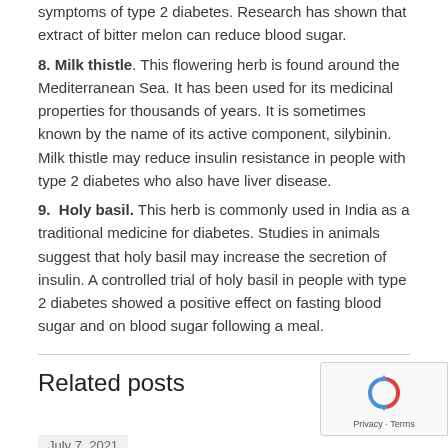symptoms of type 2 diabetes. Research has shown that extract of bitter melon can reduce blood sugar.
8. Milk thistle. This flowering herb is found around the Mediterranean Sea. It has been used for its medicinal properties for thousands of years. It is sometimes known by the name of its active component, silybinin. Milk thistle may reduce insulin resistance in people with type 2 diabetes who also have liver disease.
9. Holy basil. This herb is commonly used in India as a traditional medicine for diabetes. Studies in animals suggest that holy basil may increase the secretion of insulin. A controlled trial of holy basil in people with type 2 diabetes showed a positive effect on fasting blood sugar and on blood sugar following a meal.
Related posts
July 7, 2021